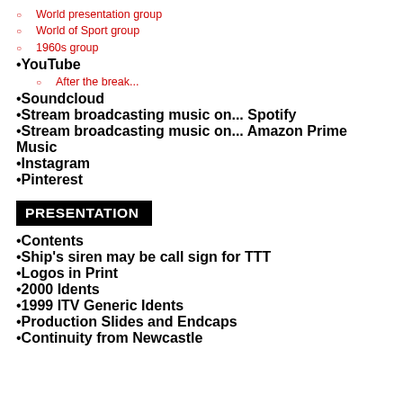World presentation group
World of Sport group
1960s group
YouTube
After the break...
Soundcloud
Stream broadcasting music on... Spotify
Stream broadcasting music on... Amazon Prime Music
Instagram
Pinterest
PRESENTATION
Contents
Ship's siren may be call sign for TTT
Logos in Print
2000 Idents
1999 ITV Generic Idents
Production Slides and Endcaps
Continuity from Newcastle